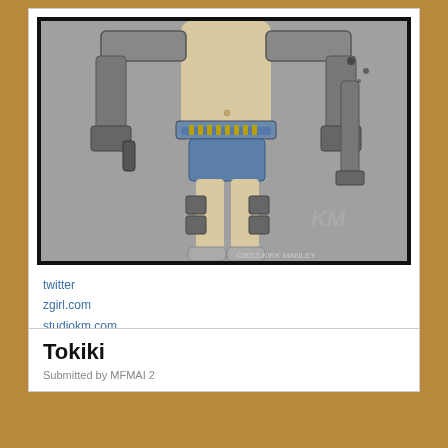[Figure (illustration): Comic-style illustration of a female figure with mechanical/cyberpunk arms and equipment, wearing denim shorts, with guns and ammunition belts. Copyright text reads ©2013 KIRK MANLEY. Background is grey.]
twitter
zgirl.com
studiokm.com
Tokiki
Submitted by MFMAI 2